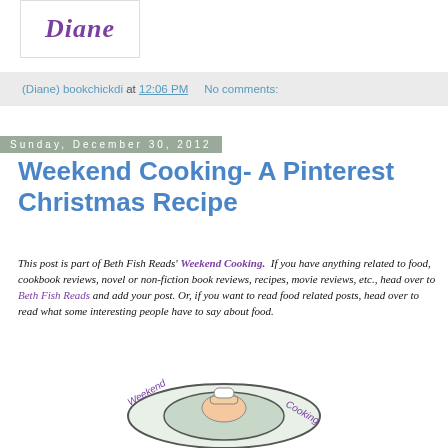[Figure (logo): Blog logo with cursive text 'Diane' in purple on white background with border]
(Diane) bookchickdi at 12:06 PM    No comments:
Sunday, December 30, 2012
Weekend Cooking- A Pinterest Christmas Recipe
This post is part of Beth Fish Reads' Weekend Cooking.  If you have anything related to food, cookbook reviews, novel or non-fiction book reviews, recipes, movie reviews, etc., head over to Beth Fish Reads and add your post. Or, if you want to read food related posts, head over to read what some interesting people have to say about food.
[Figure (logo): Weekend Cooking circular logo with chef hat illustration and text 'Weekend Cooking' in purple around the border]